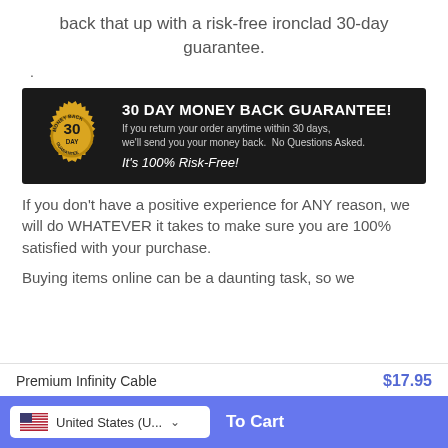back that up with a risk-free ironclad 30-day guarantee.
.
[Figure (infographic): 30 Day Money Back Guarantee banner with gold badge seal on dark background. Text: '30 DAY MONEY BACK GUARANTEE! If you return your order anytime within 30 days, we'll send you your money back. No Questions Asked. It's 100% Risk-Free!']
If you don't have a positive experience for ANY reason, we will do WHATEVER it takes to make sure you are 100% satisfied with your purchase.
Buying items online can be a daunting task, so we
Premium Infinity Cable   $17.95   United States (U...   To Cart